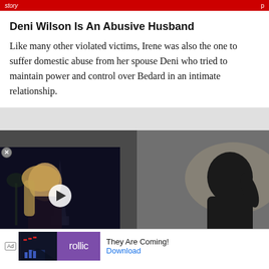Deni Wilson Is An Abusive Husband
Like many other violated victims, Irene was also the one to suffer domestic abuse from her spouse Deni who tried to maintain power and control over Bedard in an intimate relationship.
[Figure (photo): A dark composite image showing a video overlay thumbnail on the left with a blonde woman and Eiffel Tower background with a play button, and on the right a silhouetted figure of a person in dim lighting, with an ad banner at the bottom for a 'Rollic' game titled 'They Are Coming!' with a Download button.]